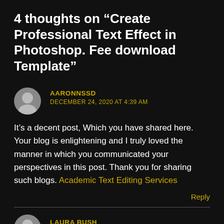4 thoughts on “Create Professional Text Effect in Photoshop. Fee download Template”
AARONNSSD
DECEMBER 24, 2020 AT 4:39 AM
It’s a decent post, Which you have shared here. Your blog is enlightening and I truly loved the manner in which you communicated your perspectives in this post. Thank you for sharing such blogs. Academic Text Editing Services
Reply
LAURA BUSH